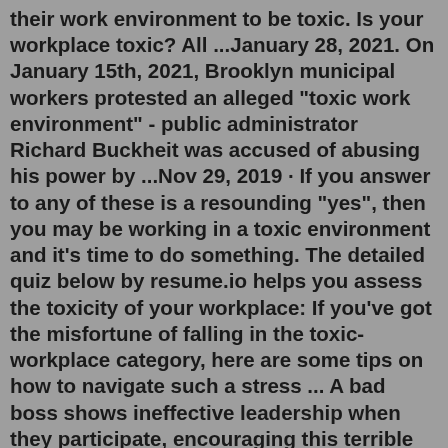their work environment to be toxic. Is your workplace toxic? All ...January 28, 2021. On January 15th, 2021, Brooklyn municipal workers protested an alleged "toxic work environment" - public administrator Richard Buckheit was accused of abusing his power by ...Nov 29, 2019 · If you answer to any of these is a resounding "yes", then you may be working in a toxic environment and it's time to do something. The detailed quiz below by resume.io helps you assess the toxicity of your workplace: If you've got the misfortune of falling in the toxic-workplace category, here are some tips on how to navigate such a stress ... A bad boss shows ineffective leadership when they participate, encouraging this terrible workplace culture rather than shutting it down. Gossiping is a form of workplace bullying, and a good boss would recognize and stop this kind of thing from happening. 7. They never give constructive feedback.Teammates complain about a co-worker who is tardy, misses deadlines and generally preoccupied. True or false: They wouldn't have a conversation about a concern.